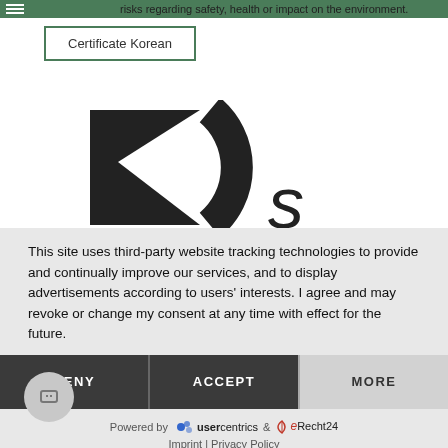risks regarding safety, health or impact on the environment.
Certificate Korean
[Figure (logo): KCS (Korean Certification System) logo – large stylized letters K and C with arc, partially cropped]
This site uses third-party website tracking technologies to provide and continually improve our services, and to display advertisements according to users' interests. I agree and may revoke or change my consent at any time with effect for the future.
DENY
ACCEPT
MORE
Powered by usercentrics & eRecht24
Imprint | Privacy Policy